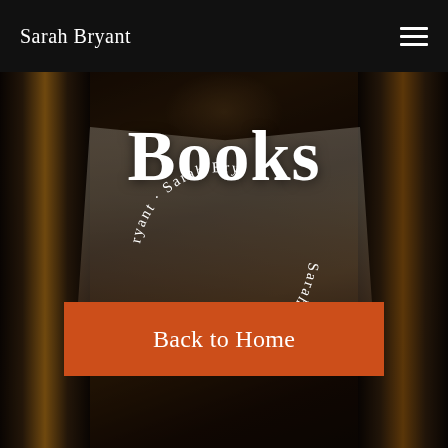Sarah Bryant
Books
[Figure (illustration): Circular spinning text reading 'Sarah Bryant · Sarah Bryant ·' arranged in a circle, with the top half reading normally and the bottom half inverted/upside-down, overlaid on a dark bookshelf background with an open book in the center]
Back to Home